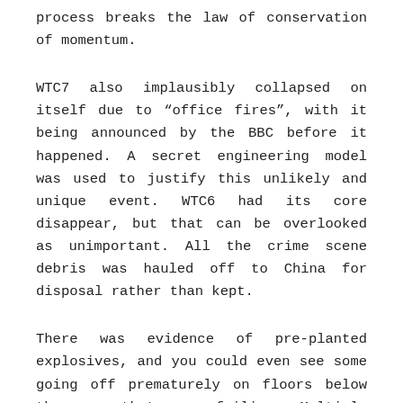process breaks the law of conservation of momentum.
WTC7 also implausibly collapsed on itself due to "office fires", with it being announced by the BBC before it happened. A secret engineering model was used to justify this unlikely and unique event. WTC6 had its core disappear, but that can be overlooked as unimportant. All the crime scene debris was hauled off to China for disposal rather than kept.
There was evidence of pre-planted explosives, and you could even see some going off prematurely on floors below the one that was failing. Multiple eyewitness